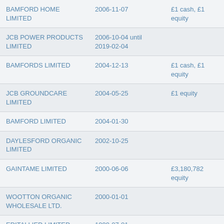| BAMFORD HOME LIMITED | 2006-11-07 | £1 cash, £1 equity |
| JCB POWER PRODUCTS LIMITED | 2006-10-04 until 2019-02-04 |  |
| BAMFORDS LIMITED | 2004-12-13 | £1 cash, £1 equity |
| JCB GROUNDCARE LIMITED | 2004-05-25 | £1 equity |
| BAMFORD LIMITED | 2004-01-30 |  |
| DAYLESFORD ORGANIC LIMITED | 2002-10-25 |  |
| GAINTAME LIMITED | 2000-06-06 | £3,180,782 equity |
| WOOTTON ORGANIC WHOLESALE LTD. | 2000-01-01 |  |
| EDITALLIED LIMITED | 1999-07-01 |  |
| BHOLDINGS LIMITED | 1995-12-13 |  |
| DAYLESFORD ORGANIC FARMS |  |  |